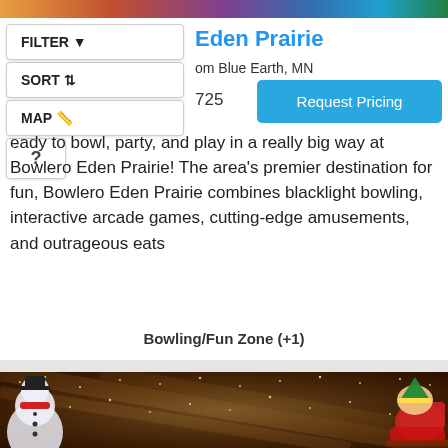[Figure (screenshot): Top colorful gradient banner image]
Eden Prairie
om Blue Earth, MN
725
Request Pricing
eady to bowl, party, and play in a really big way at Bowlero Eden Prairie! The area's premier destination for fun, Bowlero Eden Prairie combines blacklight bowling, interactive arcade games, cutting-edge amusements, and outrageous eats
Bowling/Fun Zone (+1)
[Figure (photo): Interior of a venue decorated with Christmas lights, inflatable snowman, inflatable elf on a sleigh, wooden beam ceiling covered in thousands of warm lights]